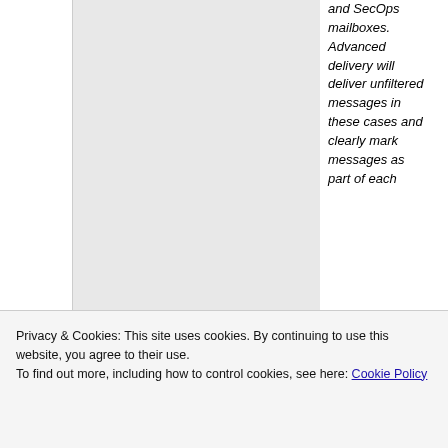and SecOps mailboxes. Advanced delivery will deliver unfiltered messages in these cases and clearly mark messages as part of each
Privacy & Cookies: This site uses cookies. By continuing to use this website, you agree to their use.
To find out more, including how to control cookies, see here: Cookie Policy
Close and accept
| Complianc | CY2021 | April 2021 |
| --- | --- | --- |